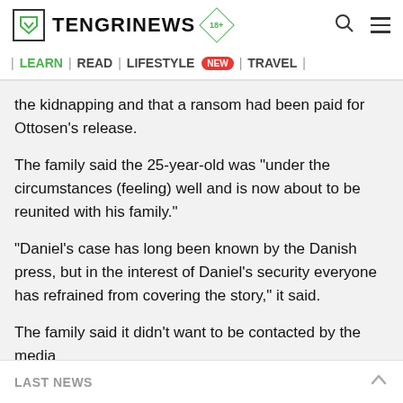TENGRINEWS | LEARN | READ | LIFESTYLE NEW | TRAVEL
the kidnapping and that a ransom had been paid for Ottosen's release.
The family said the 25-year-old was "under the circumstances (feeling) well and is now about to be reunited with his family."
"Daniel's case has long been known by the Danish press, but in the interest of Daniel's security everyone has refrained from covering the story," it said.
The family said it didn't want to be contacted by the media
LAST NEWS